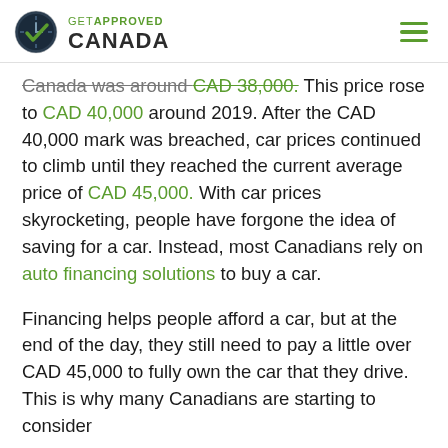GET APPROVED CANADA
Canada was around CAD 38,000. This price rose to CAD 40,000 around 2019. After the CAD 40,000 mark was breached, car prices continued to climb until they reached the current average price of CAD 45,000. With car prices skyrocketing, people have forgone the idea of saving for a car. Instead, most Canadians rely on auto financing solutions to buy a car.
Financing helps people afford a car, but at the end of the day, they still need to pay a little over CAD 45,000 to fully own the car that they drive. This is why many Canadians are starting to consider